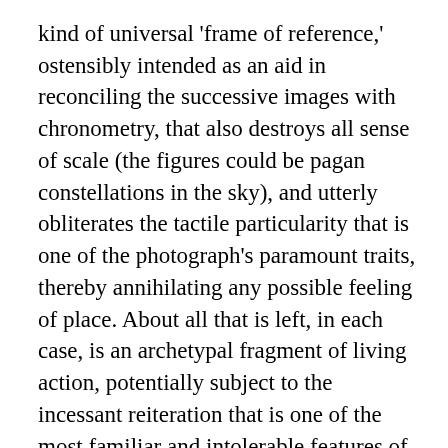kind of universal 'frame of reference,' ostensibly intended as an aid in reconciling the successive images with chronometry, that also destroys all sense of scale (the figures could be pagan constellations in the sky), and utterly obliterates the tactile particularity that is one of the photograph's paramount traits, thereby annihilating any possible feeling of place. About all that is left, in each case, is an archetypal fragment of living action, potentially subject to the incessant reiteration that is one of the most familiar and intolerable features of our dreams."
Unlike Muybridge's subjects, the objects that Frampton and Faller photographed are on their own immobile. Aided by the artists, however, the various vegetables become animated and involved in a series of consequences...